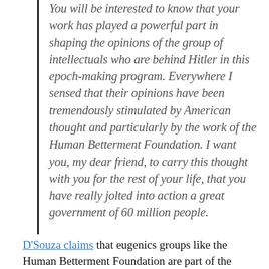You will be interested to know that your work has played a powerful part in shaping the opinions of the group of intellectuals who are behind Hitler in this epoch-making program. Everywhere I sensed that their opinions have been tremendously stimulated by American thought and particularly by the work of the Human Betterment Foundation. I want you, my dear friend, to carry this thought with you for the rest of your life, that you have really jolted into action a great government of 60 million people.
D'Souza claims that eugenics groups like the Human Betterment Foundation are part of the